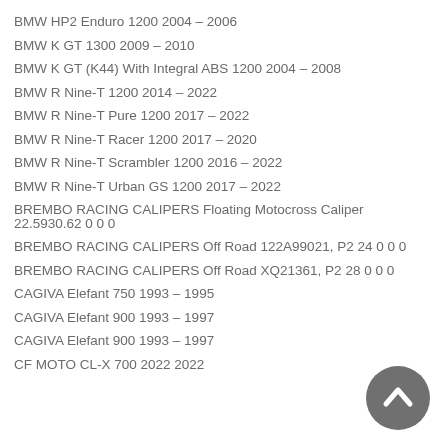BMW HP2 Enduro 1200 2004 – 2006
BMW K GT 1300 2009 – 2010
BMW K GT (K44) With Integral ABS 1200 2004 – 2008
BMW R Nine-T 1200 2014 – 2022
BMW R Nine-T Pure 1200 2017 – 2022
BMW R Nine-T Racer 1200 2017 – 2020
BMW R Nine-T Scrambler 1200 2016 – 2022
BMW R Nine-T Urban GS 1200 2017 – 2022
BREMBO RACING CALIPERS Floating Motocross Caliper 22.5930.62 0 0 0
BREMBO RACING CALIPERS Off Road 122A99021, P2 24 0 0 0
BREMBO RACING CALIPERS Off Road XQ21361, P2 28 0 0 0
CAGIVA Elefant 750 1993 – 1995
CAGIVA Elefant 900 1993 – 1997
CAGIVA Elefant 900 1993 – 1997
CF MOTO CL-X 700 2022 2022